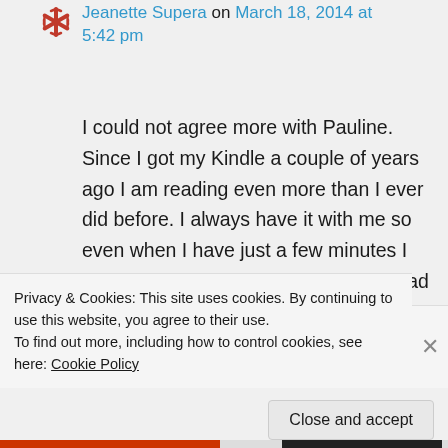[Figure (illustration): Red snowflake/asterisk avatar icon for user Jeanette Supera]
Jeanette Supera on March 18, 2014 at 5:42 pm
I could not agree more with Pauline. Since I got my Kindle a couple of years ago I am reading even more than I ever did before. I always have it with me so even when I have just a few minutes I can read. I think at this point I have read all of your books and have loved every one of them. I am a really big fan of your
Privacy & Cookies: This site uses cookies. By continuing to use this website, you agree to their use.
To find out more, including how to control cookies, see here: Cookie Policy
Close and accept